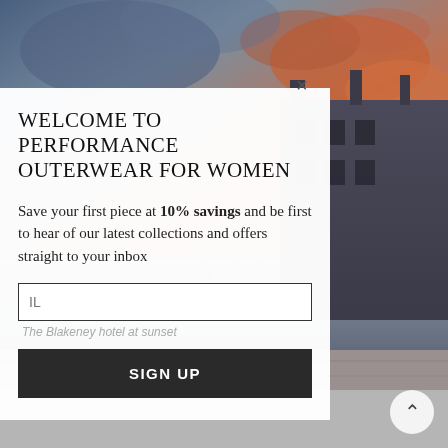[Figure (photo): Background photo of a harbor/coastal scene with dramatic orange and blue sunset sky, with boats moored and historic stone buildings visible on the right side.]
WELCOME TO PERFORMANCE OUTERWEAR FOR WOMEN
Save your first piece at 10% savings and be first to hear of our latest collections and offers straight to your inbox
[Figure (screenshot): Email input field with placeholder text 'IL' and a 'SIGN UP' button below it. Also shows caption 'The Blakeney hotel at sunset'.]